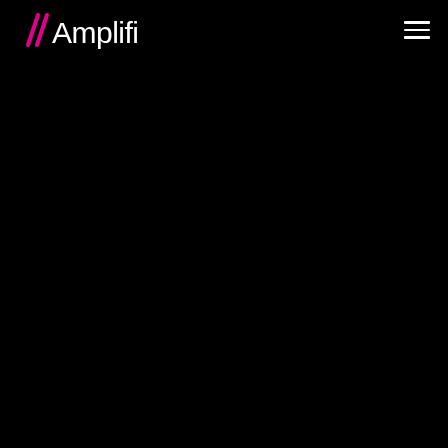//Amplifi
[Figure (logo): Amplifi logo with two pink diagonal slash marks followed by white text 'Amplifi' on black background, with hamburger menu icon on the right]